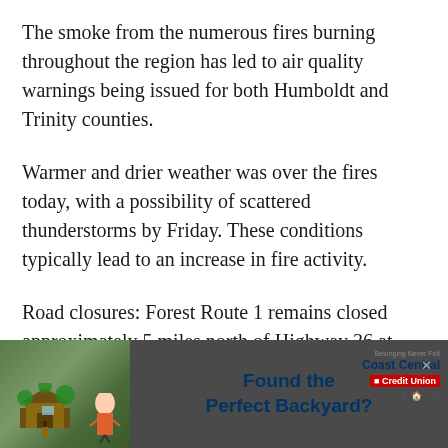The smoke from the numerous fires burning throughout the region has led to air quality warnings being issued for both Humboldt and Trinity counties.
Warmer and drier weather was over the fires today, with a possibility of scattered thunderstorms by Friday. These conditions typically lead to an increase in fire activity.
Road closures: Forest Route 1 remains closed approximately 5 miles north of Highway 36 at Forest Service Road 2N12. Van Duzen Road is closed to non-residents, from Browns Canyon to junction with Ruth-Zenia Road (Co Rd 502). Highway 36 is closed
[Figure (photo): Advertisement banner for Coast Central Credit Union featuring a child in a treehouse with text 'Found the Perfect Backyard?']